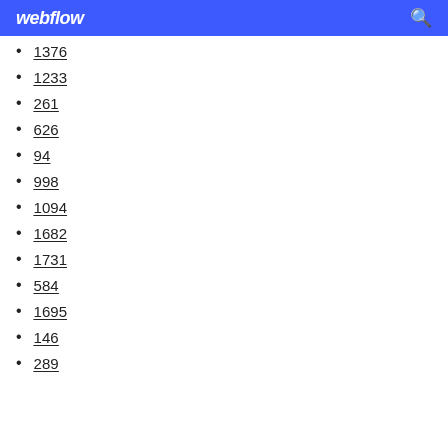webflow
1376
1233
261
626
94
998
1094
1682
1731
584
1695
146
289